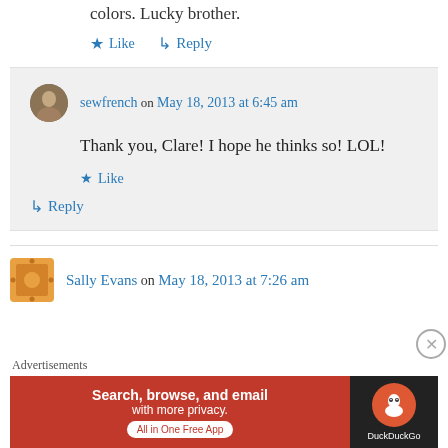colors. Lucky brother.
★ Like
↳ Reply
sewfrench on May 18, 2013 at 6:45 am
Thank you, Clare! I hope he thinks so! LOL!
★ Like
↳ Reply
Sally Evans on May 18, 2013 at 7:26 am
Advertisements
[Figure (screenshot): DuckDuckGo advertisement banner: Search, browse, and email with more privacy. All in One Free App. DuckDuckGo logo on dark background.]